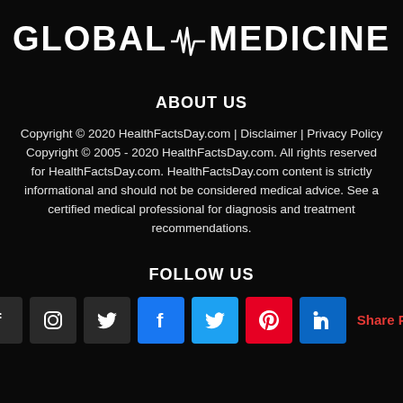[Figure (logo): Global Medicine logo with pulse/heartbeat waveform between the words GLOBAL and MEDICINE, white text on black background]
ABOUT US
Copyright © 2020 HealthFactsDay.com | Disclaimer | Privacy Policy Copyright © 2005 - 2020 HealthFactsDay.com. All rights reserved for HealthFactsDay.com. HealthFactsDay.com content is strictly informational and should not be considered medical advice. See a certified medical professional for diagnosis and treatment recommendations.
FOLLOW US
[Figure (infographic): Social media icons row: Facebook (dark), Instagram (dark), Twitter (dark), Facebook (blue), Twitter (light blue), Pinterest (red), LinkedIn (blue), followed by 'Share Post' in red text]